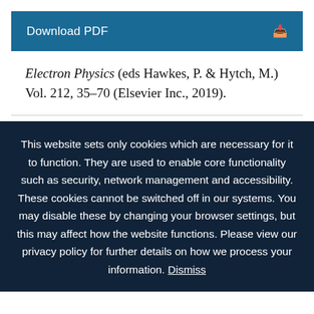[Figure (other): Download PDF button with download icon on dark teal background]
Electron Physics (eds Hawkes, P. & Hytch, M.) Vol. 212, 35–70 (Elsevier Inc., 2019).
This website sets only cookies which are necessary for it to function. They are used to enable core functionality such as security, network management and accessibility. These cookies cannot be switched off in our systems. You may disable these by changing your browser settings, but this may affect how the website functions. Please view our privacy policy for further details on how we process your information. Dismiss